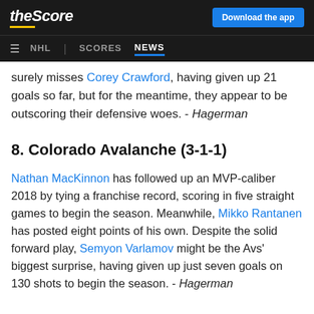theScore | Download the app | NHL | SCORES | NEWS
surely misses Corey Crawford, having given up 21 goals so far, but for the meantime, they appear to be outscoring their defensive woes. - Hagerman
8. Colorado Avalanche (3-1-1)
Nathan MacKinnon has followed up an MVP-caliber 2018 by tying a franchise record, scoring in five straight games to begin the season. Meanwhile, Mikko Rantanen has posted eight points of his own. Despite the solid forward play, Semyon Varlamov might be the Avs' biggest surprise, having given up just seven goals on 130 shots to begin the season. - Hagerman
9. Anaheim Ducks (4-1-1)